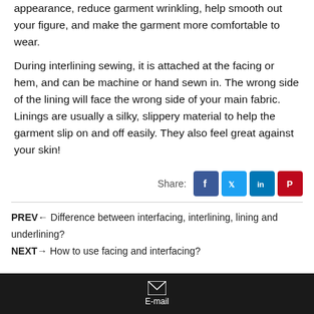appearance, reduce garment wrinkling, help smooth out your figure, and make the garment more comfortable to wear.
During interlining sewing, it is attached at the facing or hem, and can be machine or hand sewn in. The wrong side of the lining will face the wrong side of your main fabric. Linings are usually a silky, slippery material to help the garment slip on and off easily. They also feel great against your skin!
Share: [Facebook] [Twitter] [LinkedIn] [Pinterest]
PREV← Difference between interfacing, interlining, lining and underlining?
NEXT→ How to use facing and interfacing?
E-mail